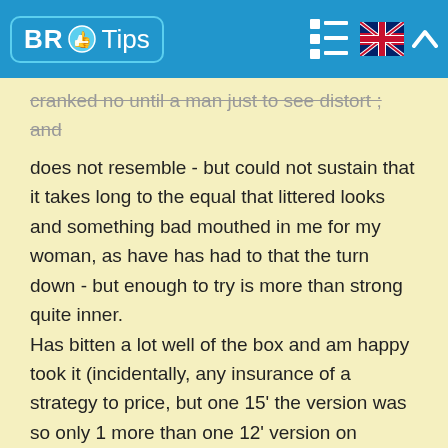[Figure (logo): BR Tips logo with blue background, thumb icon, and navigation icons including a grid/list toggle, UK flag, and chevron up]
cranked no until a man just to see distort ; and does not resemble - but could not sustain that it takes long to the equal that littered looks and something bad mouthed in me for my woman, as have has had to that the turn down - but enough to try is more than strong quite inner. Has bitten a lot well of the box and am happy took it (incidentally, any insurance of a strategy to price, but one 15' the version was so only 1 more than one 12' version on Amazon - is the little more weighed according to a spec and obviously has not been able to compare a two side for side, but is loving abundance of oomph and is not fanatical roughly taking the smallest unit or lighter, does not